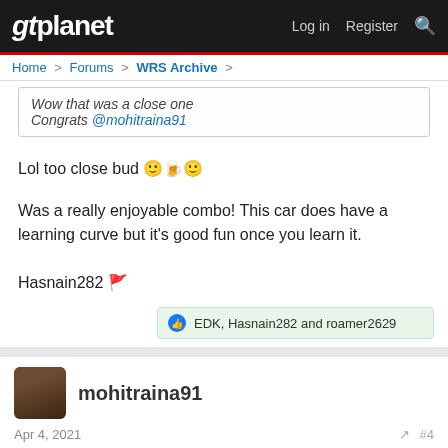gtplanet | Log in | Register
Home > Forums > WRS Archive >
Wow that was a close one
Congrats @mohitraina91
Lol too close bud 🙂🍺🙂
Was a really enjoyable combo! This car does have a learning curve but it's good fun once you learn it.

Hasnain282 🚩
EDK, Hasnain282 and roamer2629
mohitraina91
Apr 4, 2021  #4